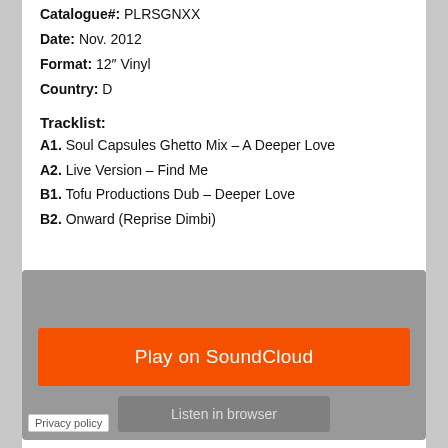Catalogue#: PLRSGNXX
Date: Nov. 2012
Format: 12" Vinyl
Country: D
Tracklist:
A1. Soul Capsules Ghetto Mix – A Deeper Love
A2. Live Version – Find Me
B1. Tofu Productions Dub – Deeper Love
B2. Onward (Reprise Dimbi)
[Figure (screenshot): SoundCloud embedded player widget with orange 'Play on SoundCloud' button and grey 'Listen in browser' button on grey background, with Privacy policy link]
[Figure (screenshot): Second SoundCloud embedded player widget, partially visible, showing grey background with orange button at bottom]